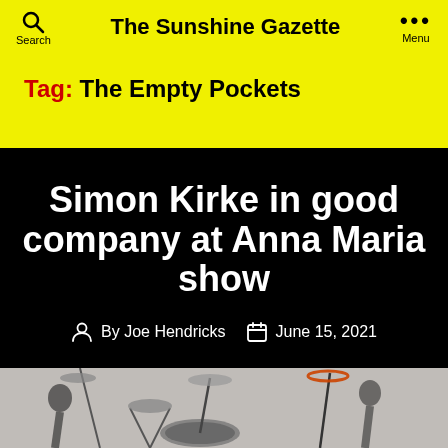The Sunshine Gazette
Tag: The Empty Pockets
Simon Kirke in good company at Anna Maria show
By Joe Hendricks   June 15, 2021
[Figure (photo): Black and white photo of musicians with drum kit on stage, partially visible at bottom of page]